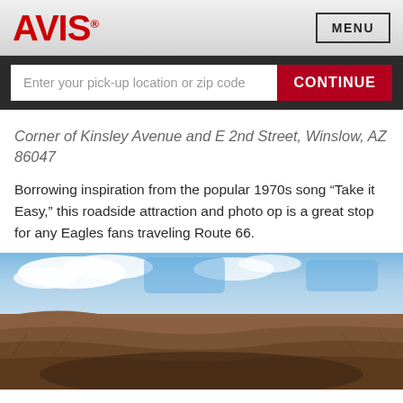AVIS
Enter your pick-up location or zip code
CONTINUE
Corner of Kinsley Avenue and E 2nd Street, Winslow, AZ 86047
Borrowing inspiration from the popular 1970s song “Take it Easy,” this roadside attraction and photo op is a great stop for any Eagles fans traveling Route 66.
[Figure (photo): Aerial or wide-angle photograph of a large meteor crater with layered rock walls, under a blue sky with white clouds.]